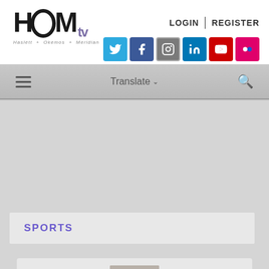[Figure (logo): HOM TV logo with tagline Haslett + Okemos + Meridian]
LOGIN  |  REGISTER
[Figure (infographic): Social media icons row: Twitter, Facebook, Instagram, LinkedIn, YouTube, Flickr]
☰  Translate ∨  🔍
SPORTS
[Figure (photo): Headshot photo of Roya Burton, a young woman with long dark hair, smiling]
Roya Burton